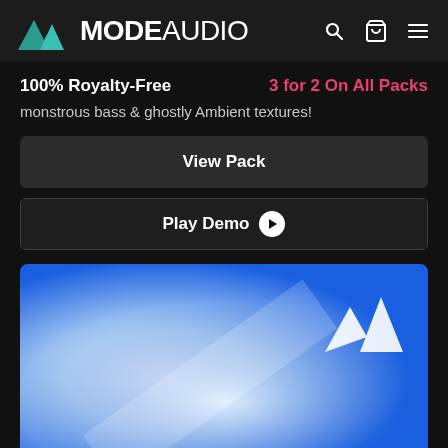MODE AUDIO
100% Royalty-Free   3 for 2 On All Packs
monstrous bass & ghostly Ambient textures!
View Pack
Play Demo
[Figure (illustration): Blue and white gradient background with ModeAudio mountain logo watermark in upper right corner]